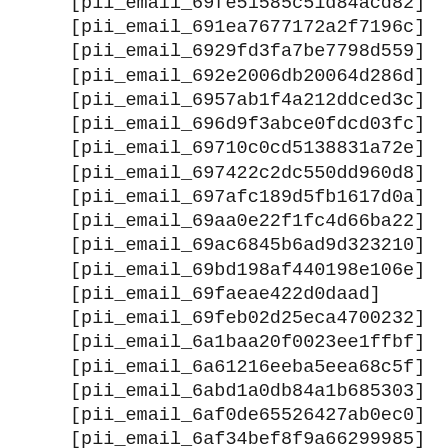[pii_email_69fe51585c51d84acd82]
[pii_email_691ea7677172a2f7196c]
[pii_email_6929fd3fa7be7798d559]
[pii_email_692e2006db20064d286d]
[pii_email_6957ab1f4a212ddced3c]
[pii_email_696d9f3abce0fdcd03fc]
[pii_email_69710c0cd5138831a72e]
[pii_email_697422c2dc550dd960d8]
[pii_email_697afc189d5fb1617d0a]
[pii_email_69aa0e22f1fc4d66ba22]
[pii_email_69ac6845b6ad9d323210]
[pii_email_69bd198af440198e106e]
[pii_email_69faeae422d0daad]
[pii_email_69feb02d25eca4700232]
[pii_email_6a1baa20f0023ee1ffbf]
[pii_email_6a61216eeba5eea68c5f]
[pii_email_6abd1a0db84a1b685303]
[pii_email_6af0de65526427ab0ec0]
[pii_email_6af34bef8f9a66299985]